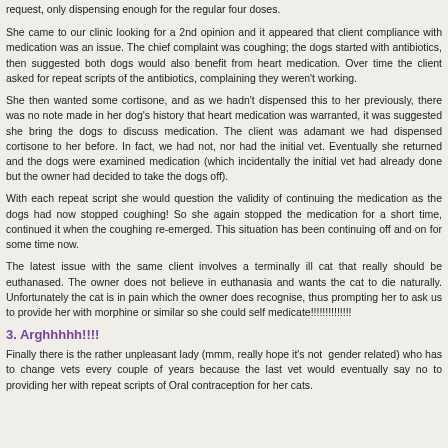request, only dispensing enough for the regular four doses.
She came to our clinic looking for a 2nd opinion and it appeared that client compliance with medication was an issue. The chief complaint was coughing; the dogs started with antibiotics, then suggested both dogs would also benefit from heart medication. Over time the client asked for repeat scripts of the antibiotics, complaining they weren't working.
She then wanted some cortisone, and as we hadn't dispensed this to her previously, there was no note made in her dog's history that heart medication was warranted, it was suggested she bring the dogs to discuss medication. The client was adamant we had dispensed cortisone to her before. In fact, we had not, nor had the initial vet. Eventually she returned and the dogs were examined medication (which incidentally the initial vet had already done but the owner had decided to take the dogs off).
With each repeat script she would question the validity of continuing the medication as the dogs had now stopped coughing! So she again stopped the medication for a short time, continued it when the coughing re-emerged. This situation has been continuing off and on for some time now.
The latest issue with the same client involves a terminally ill cat that really should be euthanased. The owner does not believe in euthanasia and wants the cat to die naturally. Unfortunately the cat is in pain which the owner does recognise, thus prompting her to ask us to provide her with morphine or similar so she could self medicate!!!!!!!!!!!!!!
3. Arghhhhh!!!!
Finally there is the rather unpleasant lady (mmm, really hope it's not  gender related) who has to change vets every couple of years because the last vet would eventually say no to providing her with repeat scripts of Oral contraception for her cats.